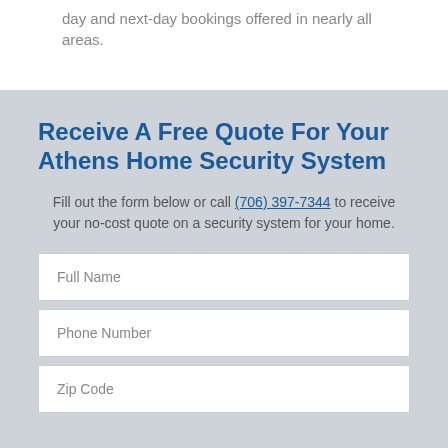day and next-day bookings offered in nearly all areas.
Receive A Free Quote For Your Athens Home Security System
Fill out the form below or call (706) 397-7344 to receive your no-cost quote on a security system for your home.
Full Name
Phone Number
Zip Code